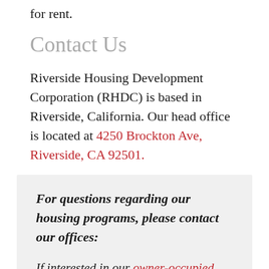for rent.
Contact Us
Riverside Housing Development Corporation (RHDC) is based in Riverside, California. Our head office is located at 4250 Brockton Ave, Riverside, CA 92501.
For questions regarding our housing programs, please contact our offices:
If interested in our owner-occupied renovation grants & loans programs, please call 951-341-6511